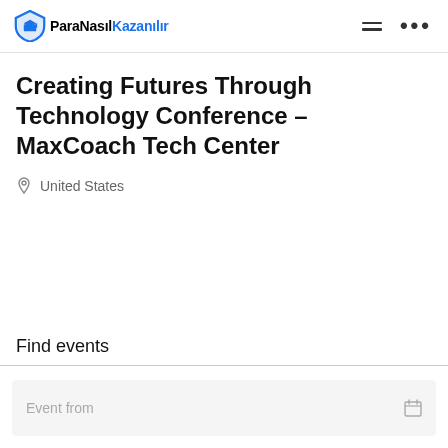ParaNasılKazanılır
Creating Futures Through Technology Conference – MaxCoach Tech Center
United States
Find events
Event from